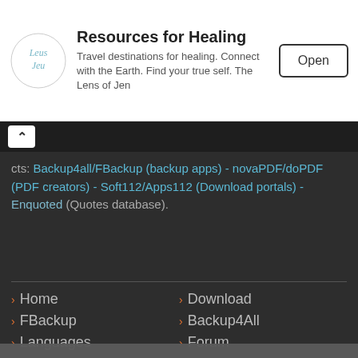[Figure (logo): Lens of Jen logo - cursive script]
Resources for Healing
Travel destinations for healing. Connect with the Earth. Find your true self. The Lens of Jen
Open
cts: Backup4all/FBackup (backup apps) - novaPDF/doPDF (PDF creators) - Soft112/Apps112 (Download portals) - Enquoted (Quotes database).
Home
Download
FBackup
Backup4All
Languages
Forum
We use cookies to offer you a personalized browsing experience and we collect personal data so that you can use our products.
I AGREE
READ MORE